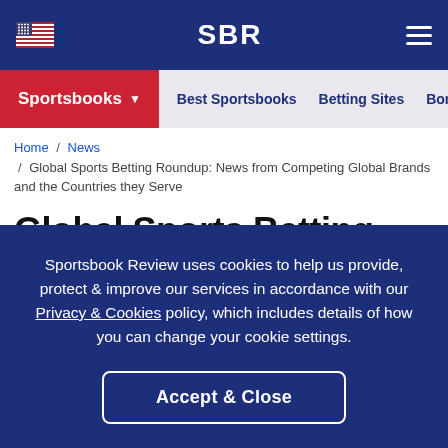SBR
Sportsbooks | Best Sportsbooks | Betting Sites | Bonus
Home / News / Global Sports Betting Roundup: News from Competing Global Brands and the Countries they Serve
Global Sports Betting Roundup: News from Competing Global Brands and
Sportsbook Review uses cookies to help us provide, protect & improve our services in accordance with our Privacy & Cookies policy, which includes details of how you can change your cookie settings.